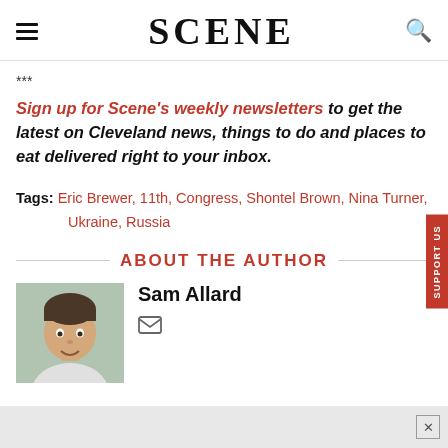SCENE
***
Sign up for Scene's weekly newsletters to get the latest on Cleveland news, things to do and places to eat delivered right to your inbox.
Tags: Eric Brewer, 11th, Congress, Shontel Brown, Nina Turner, Ukraine, Russia
ABOUT THE AUTHOR
Sam Allard
[Figure (photo): Headshot photo of Sam Allard]